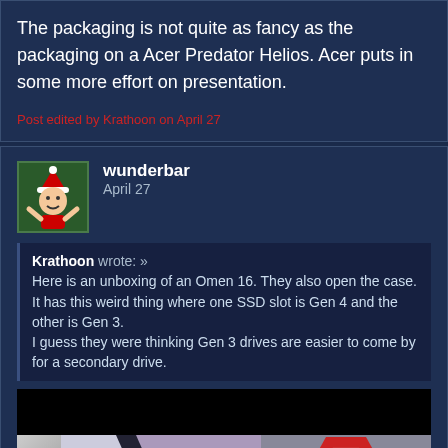The packaging is not quite as fancy as the packaging on a Acer Predator Helios. Acer puts in some more effort on presentation.
Post edited by Krathoon on April 27
wunderbar
April 27
Krathoon wrote: » Here is an unboxing of an Omen 16. They also open the case. It has this weird thing where one SSD slot is Gen 4 and the other is Gen 3. I guess they were thinking Gen 3 drives are easier to come by for a secondary drive.
[Figure (screenshot): Thumbnail of an HP Omen 16.1 Laptop video unboxing showing a dark laptop lid and red diamond HP Omen logo with text HP OMEN 16.1 LAPTOP]